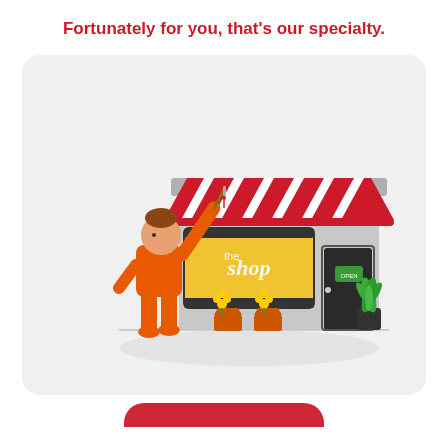Fortunately for you, that's our specialty.
[Figure (illustration): Illustration of a person in an orange jumpsuit painting or writing on the window of a small shop storefront. The shop has a red and white striped awning, a yellow display window with 'shop' written on it, two orange flower pots with yellow flowers, a dark door with a green open sign, and a green plant in a black pot to the right.]
[Figure (other): Partial red rounded rectangle button at the bottom of the page, cut off.]